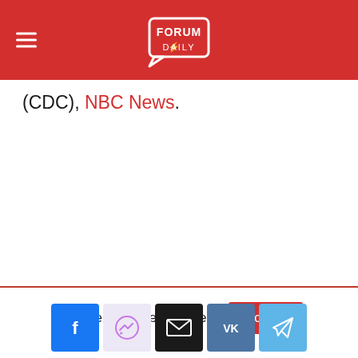Forum Daily
(CDC), NBC News.
This website uses cookies. [Accept button]
[Figure (other): Social sharing buttons row: Facebook, Messenger, Email, VK, Telegram]